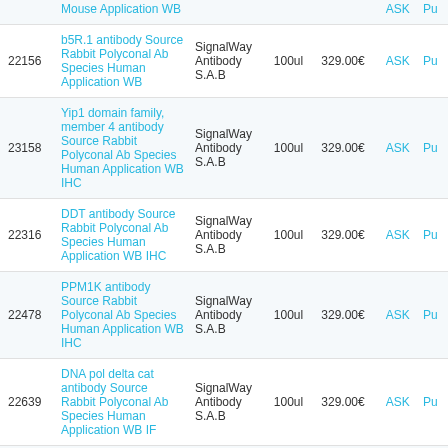| ID | Name | Supplier | Qty | Price | ASK | Pu |
| --- | --- | --- | --- | --- | --- | --- |
|  | Mouse Application WB | SignalWay Antibody S.A.B | 100ul | 329.00€ | ASK | Pu |
| 22156 | b5R.1 antibody Source Rabbit Polyconal Ab Species Human Application WB | SignalWay Antibody S.A.B | 100ul | 329.00€ | ASK | Pu |
| 23158 | Yip1 domain family, member 4 antibody Source Rabbit Polyconal Ab Species Human Application WB IHC | SignalWay Antibody S.A.B | 100ul | 329.00€ | ASK | Pu |
| 22316 | DDT antibody Source Rabbit Polyconal Ab Species Human Application WB IHC | SignalWay Antibody S.A.B | 100ul | 329.00€ | ASK | Pu |
| 22478 | PPM1K antibody Source Rabbit Polyconal Ab Species Human Application WB IHC | SignalWay Antibody S.A.B | 100ul | 329.00€ | ASK | Pu |
| 22639 | DNA pol delta cat antibody Source Rabbit Polyconal Ab Species Human Application WB IF | SignalWay Antibody S.A.B | 100ul | 329.00€ | ASK | Pu |
| 22766 | LRP130 antibody Source Rabbit Polyconal Ab Species Human Application WB | SignalWay Antibody S.A.B | 100ul | 329.00€ | ASK | Pu |